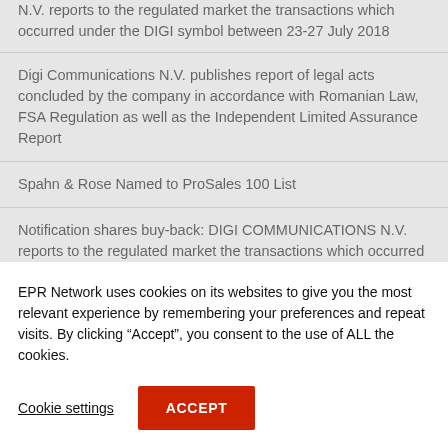N.V. reports to the regulated market the transactions which occurred under the DIGI symbol between 23-27 July 2018
Digi Communications N.V. publishes report of legal acts concluded by the company in accordance with Romanian Law, FSA Regulation as well as the Independent Limited Assurance Report
Spahn & Rose Named to ProSales 100 List
Notification shares buy-back: DIGI COMMUNICATIONS N.V. reports to the regulated market the transactions which occurred under the DIGI symbol between 16-20
EPR Network uses cookies on its websites to give you the most relevant experience by remembering your preferences and repeat visits. By clicking “Accept”, you consent to the use of ALL the cookies.
Cookie settings  ACCEPT